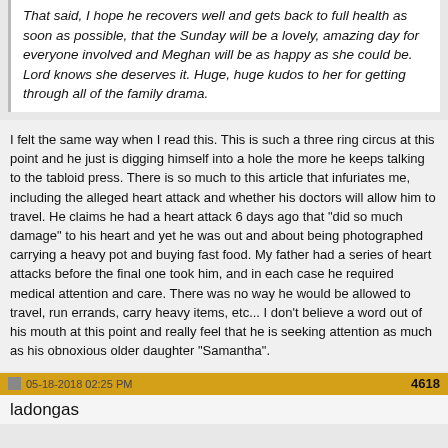That said, I hope he recovers well and gets back to full health as soon as possible, that the Sunday will be a lovely, amazing day for everyone involved and Meghan will be as happy as she could be. Lord knows she deserves it. Huge, huge kudos to her for getting through all of the family drama.
I felt the same way when I read this. This is such a three ring circus at this point and he just is digging himself into a hole the more he keeps talking to the tabloid press. There is so much to this article that infuriates me, including the alleged heart attack and whether his doctors will allow him to travel. He claims he had a heart attack 6 days ago that "did so much damage" to his heart and yet he was out and about being photographed carrying a heavy pot and buying fast food. My father had a series of heart attacks before the final one took him, and in each case he required medical attention and care. There was no way he would be allowed to travel, run errands, carry heavy items, etc... I don't believe a word out of his mouth at this point and really feel that he is seeking attention as much as his obnoxious older daughter "Samantha".
05-18-2018 02:25 PM   4618
ladongas